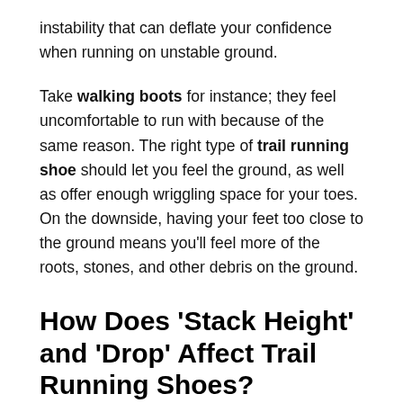instability that can deflate your confidence when running on unstable ground.
Take walking boots for instance; they feel uncomfortable to run with because of the same reason. The right type of trail running shoe should let you feel the ground, as well as offer enough wriggling space for your toes. On the downside, having your feet too close to the ground means you'll feel more of the roots, stones, and other debris on the ground.
How Does 'Stack Height' and 'Drop' Affect Trail Running Shoes?